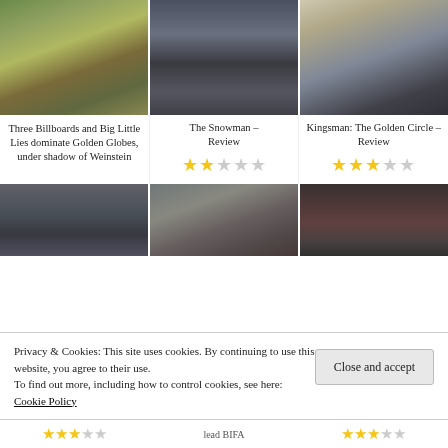[Figure (photo): Three movie thumbnail images in a row: Three Billboards Outside Ebbing Missouri scene, The Snowman film still, Kingsman The Golden Circle still]
Three Billboards and Big Little Lies dominate Golden Globes, under shadow of Weinstein
The Snowman – Review ★★☆☆☆
Kingsman: The Golden Circle – Review ★★★☆☆
[Figure (photo): Three more movie thumbnail images in a row at the bottom section]
Privacy & Cookies: This site uses cookies. By continuing to use this website, you agree to their use. To find out more, including how to control cookies, see here: Cookie Policy
Close and accept